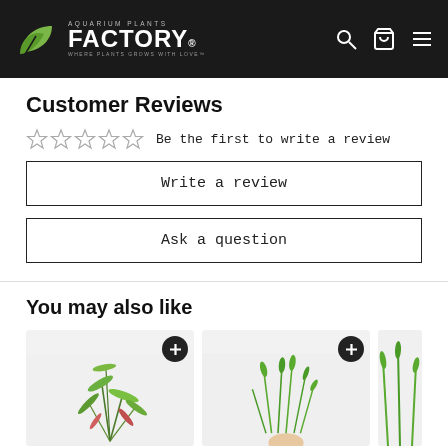Aquarium Plants Factory - WHERE PLANTS GROWS WITH LOVE
Customer Reviews
☆☆☆☆☆  Be the first to write a review
Write a review
Ask a question
You may also like
[Figure (photo): Aquarium plant product card with green and pink leaves, plus button overlay]
[Figure (photo): Aquarium plant product card with grass-like green plant held in hand, plus button overlay]
[Figure (photo): Aquarium plant product card partial view on right edge]